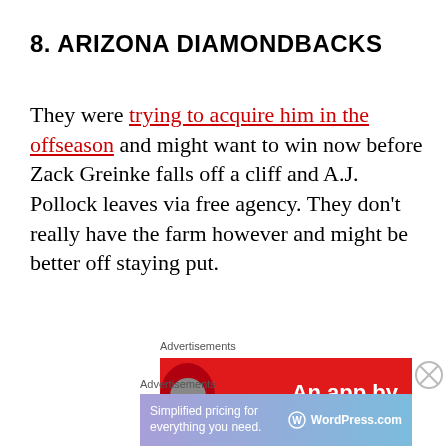8. ARIZONA DIAMONDBACKS
They were trying to acquire him in the offseason and might want to win now before Zack Greinke falls off a cliff and A.J. Pollock leaves via free agency. They don't really have the farm however and might be better off staying put.
Advertisements
[Figure (other): Red advertisement banner with text 'An app by' and a circular image]
Advertisements
[Figure (other): WordPress.com advertisement: Simplified pricing for everything you need.]